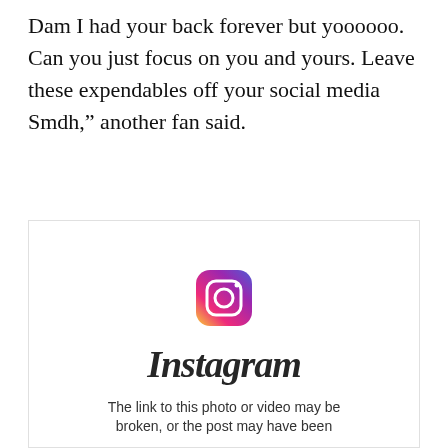Dam I had your back forever but yoooooo. Can you just focus on you and yours. Leave these expendables off your social media Smdh," another fan said.
[Figure (screenshot): Instagram embed placeholder showing the Instagram camera icon logo, the word 'Instagram' in script font, and the text 'The link to this photo or video may be broken, or the post may have been']